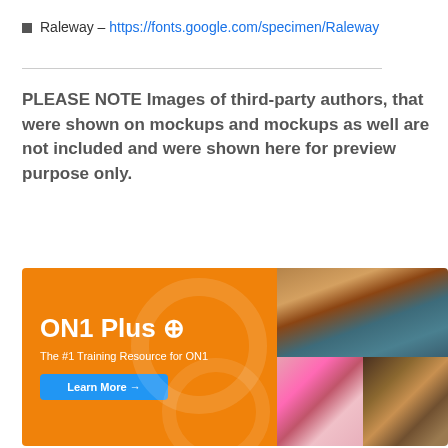Raleway – https://fonts.google.com/specimen/Raleway
PLEASE NOTE Images of third-party authors, that were shown on mockups and mockups as well are not included and were shown here for preview purpose only.
[Figure (photo): ON1 Plus advertisement banner with orange background, text 'ON1 Plus +', 'The #1 Training Resource for ON1', 'Learn More →' button, and photo collage of a woman's face, flowers, and a candle]